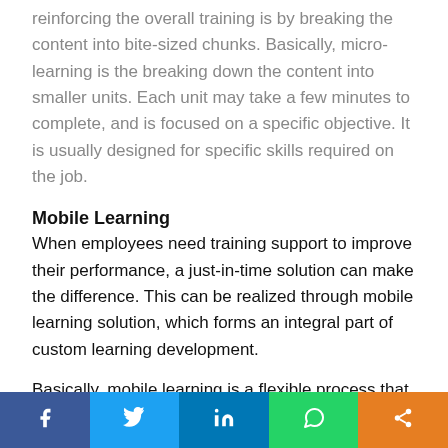reinforcing the overall training is by breaking the content into bite-sized chunks. Basically, micro-learning is the breaking down the content into smaller units. Each unit may take a few minutes to complete, and is focused on a specific objective. It is usually designed for specific skills required on the job.
Mobile Learning
When employees need training support to improve their performance, a just-in-time solution can make the difference. This can be realized through mobile learning solution, which forms an integral part of custom learning development.
Basically, mobile learning is a flexible process that allows your learners to access learning resources anywhere and anytime on their own devices. Your learners can use mobile
Facebook | Twitter | LinkedIn | WhatsApp | Share